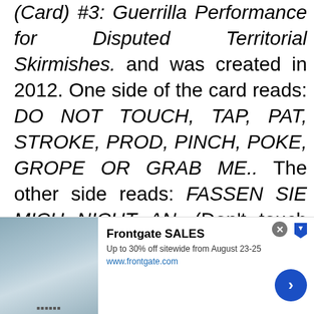(Card) #3: Guerrilla Performance for Disputed Territorial Skirmishes. and was created in 2012. One side of the card reads: DO NOT TOUCH, TAP, PAT, STROKE, PROD, PINCH, POKE, GROPE OR GRAB ME.. The other side reads: FASSEN SIE MICH NICHT AN. (Don't touch me).
[Figure (other): Advertisement banner for Frontgate SALES showing bedroom/bedding product image on the left, with text 'Frontgate SALES', 'Up to 30% off sitewide from August 23-25', 'www.frontgate.com', a close button (x), a right-arrow navigation button, and a small arrow/flag icon.]